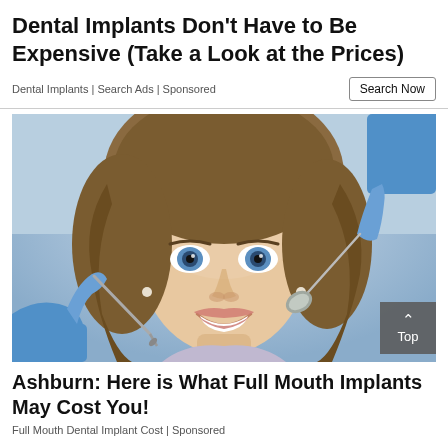Dental Implants Don't Have to Be Expensive (Take a Look at the Prices)
Dental Implants | Search Ads | Sponsored
[Figure (photo): Young woman smiling at the camera while a dentist in blue gloves holds dental tools near her teeth; professional dental examination setting.]
Ashburn: Here is What Full Mouth Implants May Cost You!
Full Mouth Dental Implant Cost | Sponsored